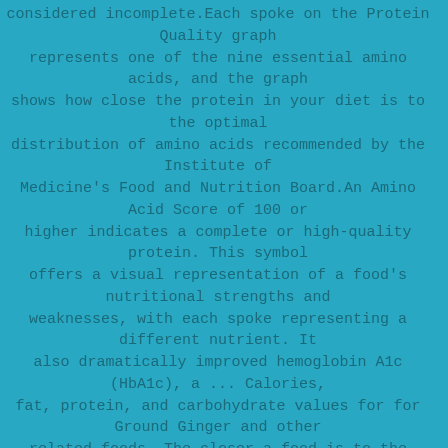considered incomplete.Each spoke on the Protein Quality graph represents one of the nine essential amino acids, and the graph shows how close the protein in your diet is to the optimal distribution of amino acids recommended by the Institute of Medicine's Food and Nutrition Board.An Amino Acid Score of 100 or higher indicates a complete or high-quality protein. This symbol offers a visual representation of a food's nutritional strengths and weaknesses, with each spoke representing a different nutrient. It also dramatically improved hemoglobin A1c (HbA1c), a ... Calories, fat, protein, and carbohydrate values for for Ground Ginger and other related foods. The closer a food is to the right edge of the map, the more essential nutrients per calorie it contains. (Go File > Print Preview > adjust the Shrink To Fit dropdown to 100%.) Get full Ginger-Garlic Green Beans Recipe ingredients, how-to directions, calories and nutrition review. It is also a good source of Vitamin C, Magnesium, Potassium, Copper and Manganese. How many calories in 1, 2, 3 or 5 ginger roots? The lower the energy density, the more food you can eat for fewer calories. Consuming 24 gram of ginger offers 0.054 mg of Copper,4.26 g of Carbohydrate, 0.038 mg of Vitamin B6, 0.055 mg of Manganese,10 mg of Magnesium,100 m...